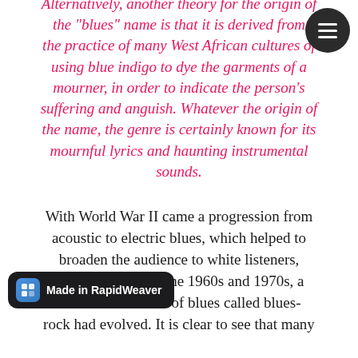Alternatively, another theory for the origin of the "blues" name is that it is derived from the practice of many West African cultures of using blue indigo to dye the garments of a mourner, in order to indicate the person's suffering and anguish. Whatever the origin of the name, the genre is certainly known for its mournful lyrics and haunting instrumental sounds.
With World War II came a progression from acoustic to electric blues, which helped to broaden the audience to white listeners, among others. By the 1960s and 1970s, a form of blues called blues-rock had evolved. It is clear to see that many